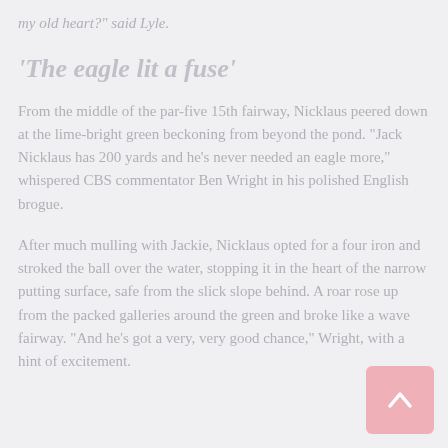my old heart?" said Lyle.
'The eagle lit a fuse'
From the middle of the par-five 15th fairway, Nicklaus peered down at the lime-bright green beckoning from beyond the pond. "Jack Nicklaus has 200 yards and he's never needed an eagle more," whispered CBS commentator Ben Wright in his polished English brogue.
After much mulling with Jackie, Nicklaus opted for a four iron and stroked the ball over the water, stopping it in the heart of the narrow putting surface, safe from the slick slope behind. A roar rose up from the packed galleries around the green and broke like a wave fairway. "And he's got a very, very good chance," Wright, with a hint of excitement.
[Figure (other): Scroll-to-top button (pink/rose colored rounded square with upward arrow icon)]